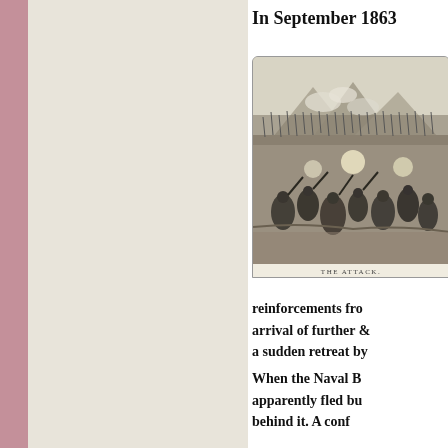In September 1863
[Figure (illustration): Historical engraving depicting a battle scene with soldiers attacking, rifles and bayonets visible, smoke and mountains in background. Caption reads 'THE ATTACK.']
reinforcements fro... arrival of further &... a sudden retreat by...
When the Naval B... apparently fled bu... behind it. A conf...